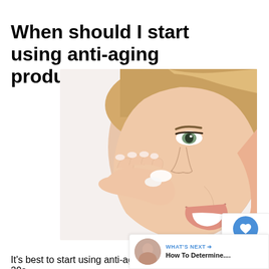When should I start using anti-aging products?
[Figure (photo): Close-up of a smiling young woman with blonde hair applying white cream to her cheek with her fingers, against a white background.]
It's best to start using anti-aging products in our 20s.
According to Scientific American, "after the age